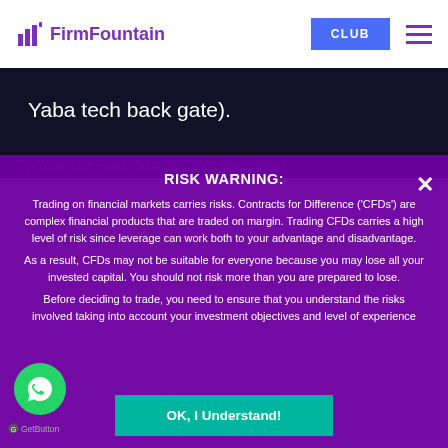FirmFountain — CLUB navigation header
Yaba tech back gate).
75 Akoaknaye Road, Opposite Zenith Bank, Benin
RISK WARNING:
Trading on financial markets carries risks. Contracts for Difference ('CFDs') are complex financial products that are traded on margin. Trading CFDs carries a high level of risk since leverage can work both to your advantage and disadvantage.
As a result, CFDs may not be suitable for everyone because you may lose all your invested capital. You should not risk more than you are prepared to lose.
Before deciding to trade, you need to ensure that you understand the risks involved taking into account your investment objectives and level of experience
OK, I Understand!